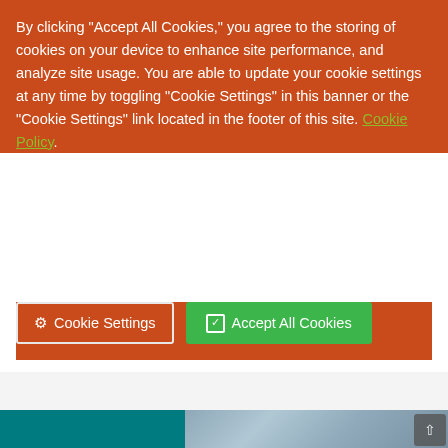By clicking "Accept All Cookies," you agree to the storing of cookies on your device to enhance site performance, and analyze site usage. You are able to update your cookie settings at any time by toggling "Cookie Settings" in this banner or the "Cookie Settings" link located in the footer of this site. Cookie Policy.
Cookie Settings | Accept All Cookies
[Figure (photo): Two surgeons in blue surgical caps, masks, and gowns leaning over a patient, holding medical instruments including what appears to be a laparoscopic camera. A third person's head is visible blurred in the background.]